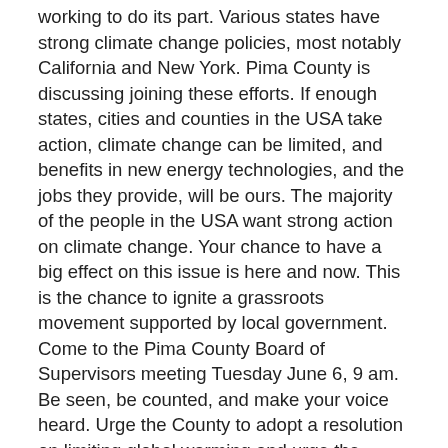working to do its part. Various states have strong climate change policies, most notably California and New York. Pima County is discussing joining these efforts. If enough states, cities and counties in the USA take action, climate change can be limited, and benefits in new energy technologies, and the jobs they provide, will be ours. The majority of the people in the USA want strong action on climate change. Your chance to have a big effect on this issue is here and now. This is the chance to ignite a grassroots movement supported by local government. Come to the Pima County Board of Supervisors meeting Tuesday June 6, 9 am. Be seen, be counted, and make your voice heard. Urge the County to adopt a resolution on limiting global warming and urge the Board to join the Western Climate Initiative. These ideas have come from some of the supervisors themselves. Come and support them to get majority votes for strong action on climate change. It is in addendum 2 to the agenda, and item 11 for the BOS meeting.
See the County's resolution at the following link, after the